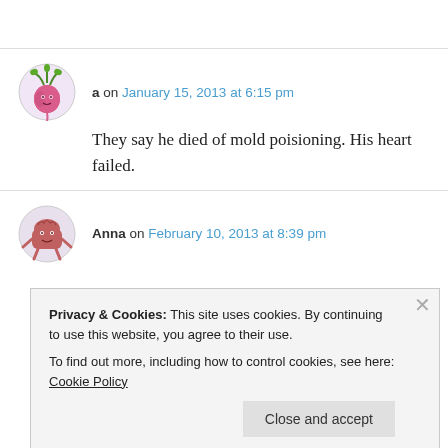a on January 15, 2013 at 6:15 pm
They say he died of mold poisioning. His heart failed.
Anna on February 10, 2013 at 8:39 pm
Privacy & Cookies: This site uses cookies. By continuing to use this website, you agree to their use.
To find out more, including how to control cookies, see here: Cookie Policy
Close and accept